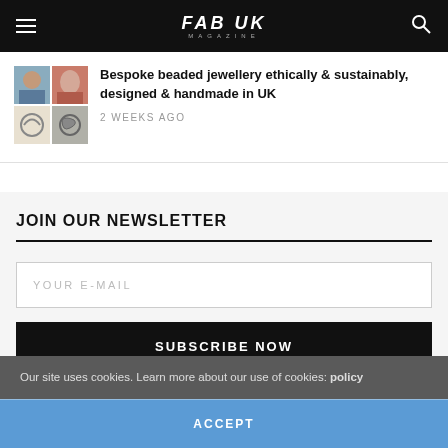FAB UK MAGAZINE
Bespoke beaded jewellery ethically & sustainably, designed & handmade in UK
2 WEEKS AGO
JOIN OUR NEWSLETTER
YOUR E-MAIL
SUBSCRIBE NOW
Our site uses cookies. Learn more about our use of cookies: policy
ACCEPT